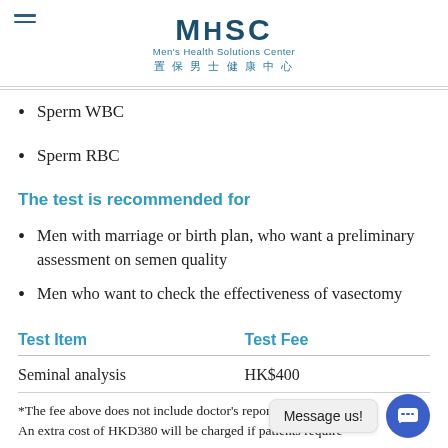Men's Health Solutions Center 置保男士健康中心
Sperm WBC
Sperm RBC
The test is recommended for
Men with marriage or birth plan, who want a preliminary assessment on semen quality
Men who want to check the effectiveness of vasectomy
| Test Item | Test Fee |
| --- | --- |
| Seminal analysis | HK$400 |
*The fee above does not include doctor's report explanation. An extra cost of HKD380 will be charged if patients require